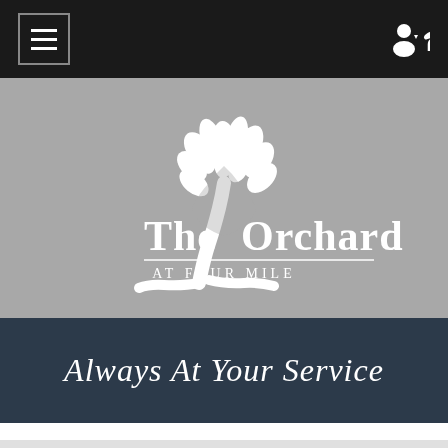[Figure (screenshot): Navigation bar with hamburger menu icon on left and user/phone icons on right, dark background]
[Figure (logo): The Orchards at Four Mile logo — white tree illustration with text 'The Orchards AT FOUR MILE' on gray background]
Always At Your Service
CONTACT US